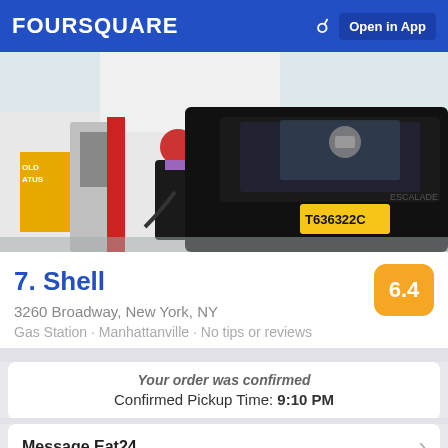FOURSQUARE  Open in App
[Figure (photo): Photo of a person pumping gas into a black Cadillac Escalade (license plate T636322C) at a Shell gas station]
7. Shell
3260 Broadway, New York, NY
Gas Station · Manhattanville · No tips or reviews
6.4
Your order was confirmed
Confirmed Pickup Time: 9:10 PM
Message Eat24